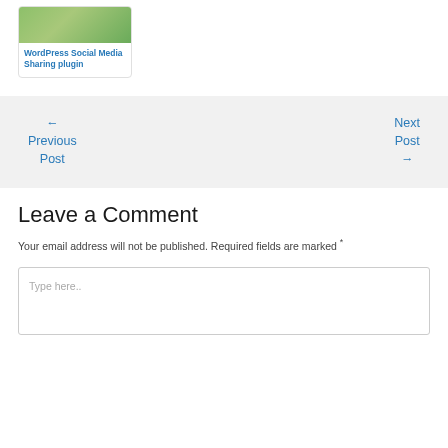[Figure (photo): Green gradient image thumbnail for WordPress Social Media Sharing plugin card]
WordPress Social Media Sharing plugin
← Previous Post
Next Post →
Leave a Comment
Your email address will not be published. Required fields are marked *
Type here..